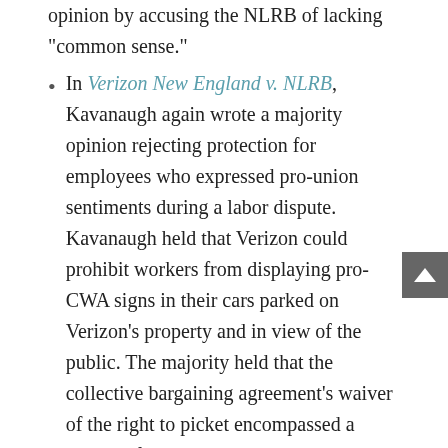In Verizon New England v. NLRB, Kavanaugh again wrote a majority opinion rejecting protection for employees who expressed pro-union sentiments during a labor dispute. Kavanaugh held that Verizon could prohibit workers from displaying pro-CWA signs in their cars parked on Verizon's property and in view of the public. The majority held that the collective bargaining agreement's waiver of the right to picket encompassed a waiver of the right to display the signs.
In Venetian Casino Resort v. NLRB, Kavanaugh wrote the majority opinion reversing the Board's decision that the Venetian violated the Act when it called the